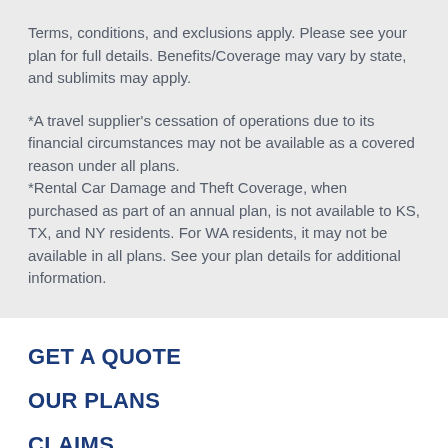Terms, conditions, and exclusions apply. Please see your plan for full details. Benefits/Coverage may vary by state, and sublimits may apply.
*A travel supplier's cessation of operations due to its financial circumstances may not be available as a covered reason under all plans.
*Rental Car Damage and Theft Coverage, when purchased as part of an annual plan, is not available to KS, TX, and NY residents. For WA residents, it may not be available in all plans. See your plan details for additional information.
GET A QUOTE
OUR PLANS
CLAIMS
MY ACCOUNT